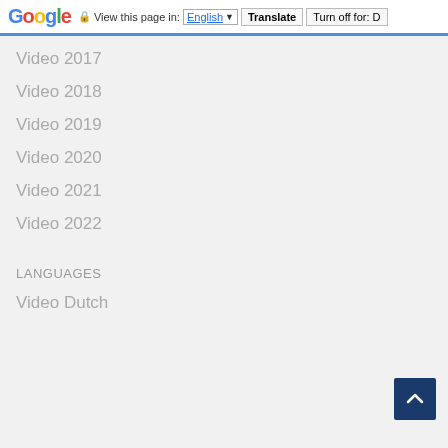Google | View this page in: English | Translate | Turn off for: D
Video 2017
Video 2018
Video 2019
Video 2020
Video 2021
Video 2022
LANGUAGES
Video Dutch